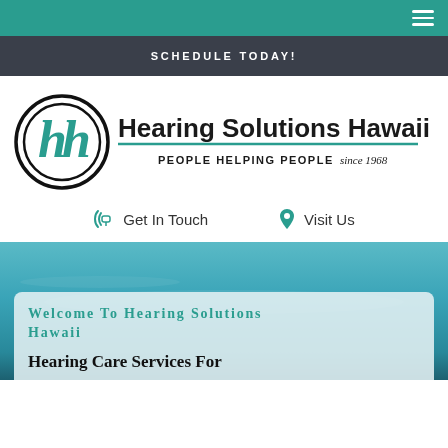SCHEDULE TODAY!
[Figure (logo): Hearing Solutions Hawaii logo with circular ear/sound wave emblem and text 'Hearing Solutions Hawaii — PEOPLE HELPING PEOPLE since 1968']
Get In Touch   Visit Us
[Figure (photo): Ocean/beach background photo with teal water]
Welcome To Hearing Solutions Hawaii
Hearing Care Services For